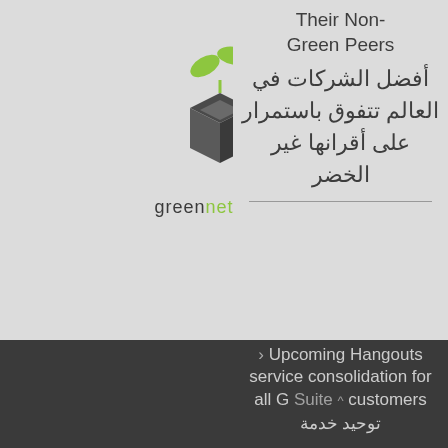[Figure (logo): greenetworks logo: geometric box shape with green leaves on top, text 'greenetworks' below with 'green' in dark gray and 'networks' partially in green/gray]
Their Non-Green Peers
أفضل الشركات في العالم تتفوق باستمرار على أقرانها غير الخضر
> Upcoming Hangouts service consolidation for all G Suite customers
توحيد خدمة